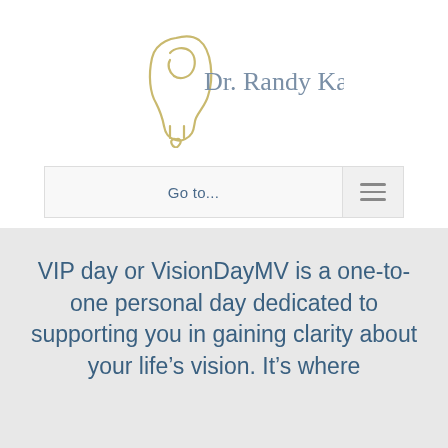[Figure (logo): Dr. Randy Kamen logo — outline of a woman's head/face in gold with a small heart, beside the text 'Dr. Randy Kamen' in grey-blue serif font]
Go to...
VIP day or VisionDayMV is a one-to-one personal day dedicated to supporting you in gaining clarity about your life's vision. It's where